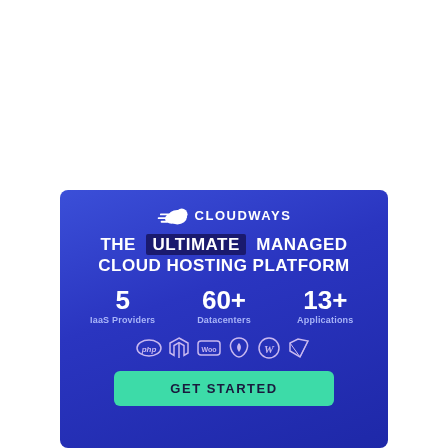[Figure (infographic): Cloudways advertisement banner with blue gradient background, logo, headline 'THE ULTIMATE MANAGED CLOUD HOSTING PLATFORM', stats (5 IaaS Providers, 60+ Datacenters, 13+ Applications), technology icons, and GET STARTED button]